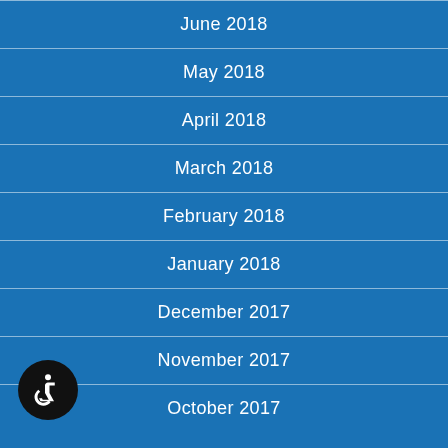June 2018
May 2018
April 2018
March 2018
February 2018
January 2018
December 2017
November 2017
October 2017
[Figure (illustration): Accessibility icon — wheelchair symbol in white on black circle]